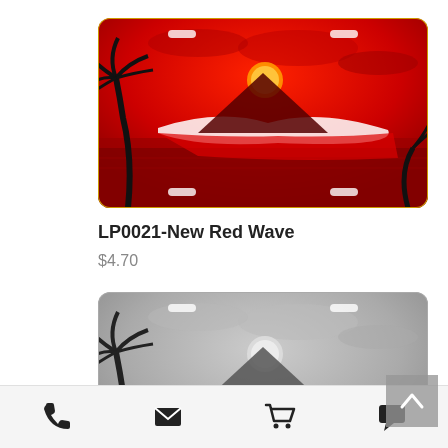[Figure (photo): License plate with red tropical beach sunset scene, palm trees silhouetted, ocean wave, and moon. Red sky background. Rounded rectangle plate shape with bolt holes.]
LP0021-New Red Wave
$4.70
[Figure (photo): License plate with same tropical beach scene in black and white/grayscale. Palm trees, ocean wave, and moon. Rounded rectangle plate shape with bolt holes.]
Phone  Email  Cart  Chat icons